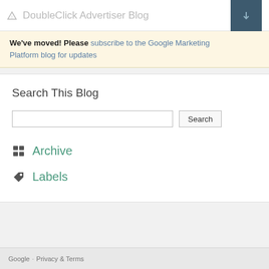DoubleClick Advertiser Blog
We've moved! Please subscribe to the Google Marketing Platform blog for updates
Search This Blog
Archive
Labels
Google · Privacy & Terms